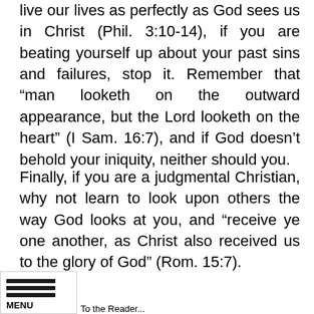live our lives as perfectly as God sees us in Christ (Phil. 3:10-14), if you are beating yourself up about your past sins and failures, stop it. Remember that “man looketh on the outward appearance, but the Lord looketh on the heart” (I Sam. 16:7), and if God doesn’t behold your iniquity, neither should you.
Finally, if you are a judgmental Christian, why not learn to look upon others the way God looks at you, and “receive ye one another, as Christ also received us to the glory of God” (Rom. 15:7).